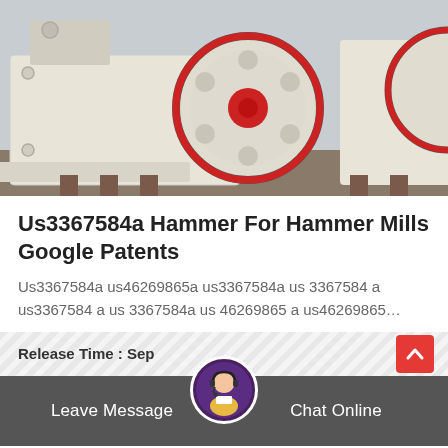[Figure (photo): Industrial hammer mill machines, cream/off-white colored metal equipment with red and gray circular wheel elements, multiple units visible outdoors on a concrete surface]
Us3367584a Hammer For Hammer Mills Google Patents
Us3367584a us46269865a us3367584a us 3367584 a us3367584 a us 3367584a us 46269865 a us46269865…
Release Time : Sep
Leave Message   Chat Online